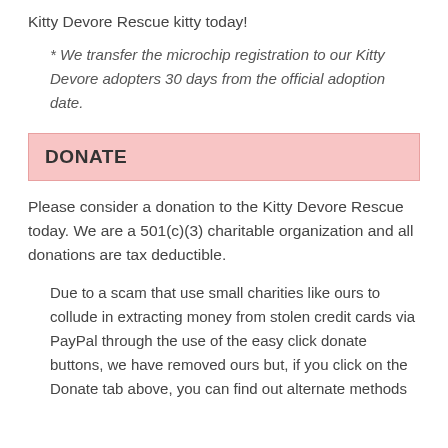Kitty Devore Rescue kitty today!
* We transfer the microchip registration to our Kitty Devore adopters 30 days from the official adoption date.
DONATE
Please consider a donation to the Kitty Devore Rescue today. We are a 501(c)(3) charitable organization and all donations are tax deductible.
Due to a scam that use small charities like ours to collude in extracting money from stolen credit cards via PayPal through the use of the easy click donate buttons, we have removed ours but, if you click on the Donate tab above, you can find out alternate methods